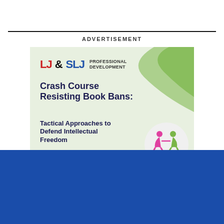ADVERTISEMENT
[Figure (illustration): LJ&SLJ Professional Development advertisement for 'Crash Course Resisting Book Bans: Tactical Approaches to Defend Intellectual Freedom' with green wave background and dancing figures logo]
This coverage is free for all visitors. Your support makes this possible.
SUBSCRIBE